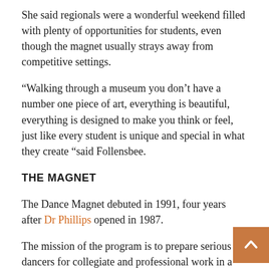She said regionals were a wonderful weekend filled with plenty of opportunities for students, even though the magnet usually strays away from competitive settings.
“Walking through a museum you don’t have a number one piece of art, everything is beautiful, everything is designed to make you think or feel, just like every student is unique and special in what they create “said Follensbee.
THE MAGNET
The Dance Magnet debuted in 1991, four years after Dr Phillips opened in 1987.
The mission of the program is to prepare serious dancers for collegiate and professional work in a variety of dance styles.
Dancers who demonstrate advanced professionalism, mastery of movement, acquisition and performance skills in all genres